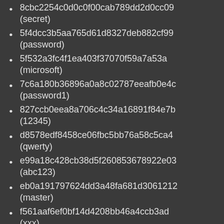8cbc2254c0d0c0f00cab789dd2d0cc09 (secret)
5f4dcc3b5aa765d61d8327deb882cf99 (password)
5f532a3fc4f1ea403f37070f59a7a53a (microsoft)
7c6a180b36896a0a8c02787eeafb0e4c (password1)
827ccb0eea8a706c4c34a16891f84e7b (12345)
d8578edf8458ce06fbc5bb76a58c5ca4 (qwerty)
e99a18c428cb38d5f260853678922e03 (abc123)
eb0a191797624dd3a48fa681d3061212 (master)
f561aaf6ef0bf14d4208bb46a4ccb3ad (xxx)